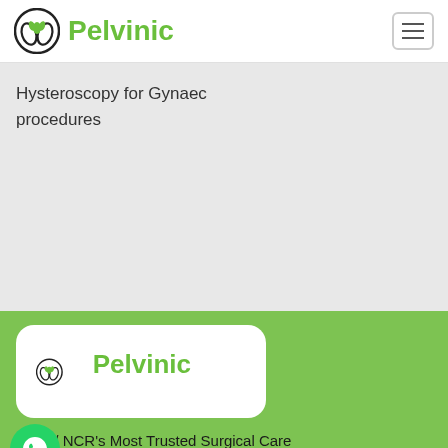[Figure (logo): Pelvinic logo with green leaf hands icon and green text 'Pelvinic' in header]
Hysteroscopy for Gynaec procedures
[Figure (logo): Pelvinic logo in white rounded box on green background]
Delhi / NCR's Most Trusted Surgical Care
Patients
Doctors
Read Blogs
About Company
About Pelvinic
Brochure
Call | Book Appointment